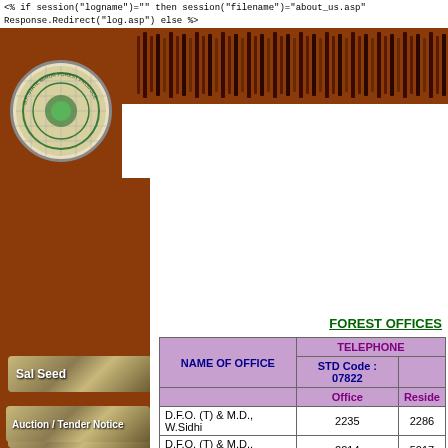<% if session("logname")="" then session("filename")="about_us.asp"
Response.Redirect("log.asp") else %>
[Figure (screenshot): Brown header bar with organization logo (circular seal) on left and decorative navigation bar with vertical stripe pattern on right]
[Figure (screenshot): Left brown sidebar with two textured navigation items: 'Sal Seed' and 'PPA']
FOREST OFFICES
| NAME OF OFFICE | TELEPHONE
Office | Reside |
| --- | --- | --- |
| STD Code : 07822 | Office | Reside |
| D.F.O. (T) & M.D., W.Sidhi | 2235 | 2286 |
| D.F.O. (T) & M.D., E.Sidhi | 2214 | 5017 |
| Director, Sanjay N.P. | 2409 | 2410 |
IMPORTANT NWFP
| S.No. | LOCAL NAME | SCIENTIFIC NAME | P |
| --- | --- | --- | --- |
[Figure (screenshot): Bottom sidebar item labeled 'Auction / Tender Notice' with textured background]